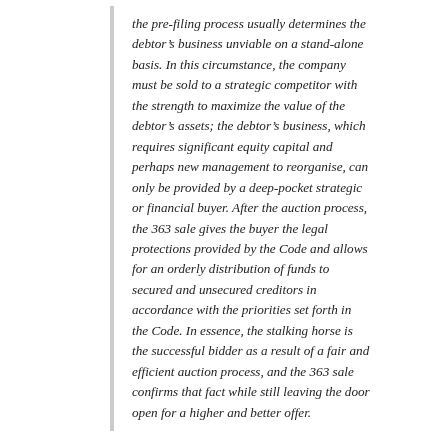the pre-filing process usually determines the debtor's business unviable on a stand-alone basis. In this circumstance, the company must be sold to a strategic competitor with the strength to maximize the value of the debtor's assets; the debtor's business, which requires significant equity capital and perhaps new management to reorganise, can only be provided by a deep-pocket strategic or financial buyer. After the auction process, the 363 sale gives the buyer the legal protections provided by the Code and allows for an orderly distribution of funds to secured and unsecured creditors in accordance with the priorities set forth in the Code. In essence, the stalking horse is the successful bidder as a result of a fair and efficient auction process, and the 363 sale confirms that fact while still leaving the door open for a higher and better offer.
Note that what happens in the “short 25 day period” that SGI references in its customer letter is that the floor is open for bids from companies other than Rackable who might want to acquire SGI for more than Rackable has offered. But the word “short” is part of